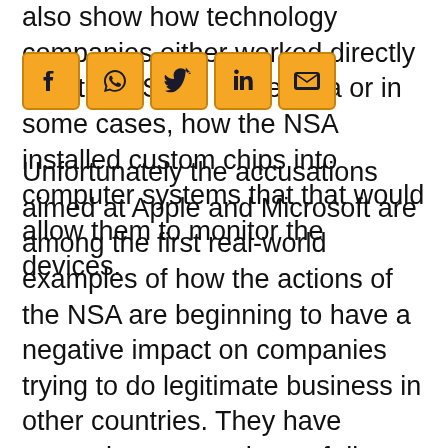also show how technology companies either worked directly with the NSA to share data or in some cases, how the NSA installed custom chips into computer systems that that would allow them to monitor the devices.
[Figure (other): Social media sharing icons: Facebook, WhatsApp, Twitter, LinkedIn, Email — orange/yellow square buttons with dark icons]
Unfortunately the accusations aimed at Apple and Microsoft are among the first real-world examples of how the actions of the NSA are beginning to have a negative impact on companies trying to do legitimate business in other countries. They have created an atmosphere of distrust around the world and that is costing U.S. companies money.